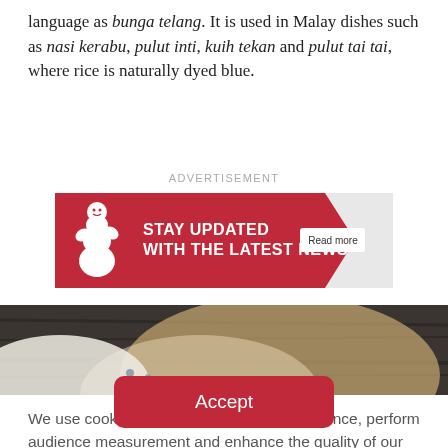language as bunga telang. It is used in Malay dishes such as nasi kerabu, pulut inti, kuih tekan and pulut tai tai, where rice is naturally dyed blue.
ADVERTISEMENT
[Figure (other): Michelin advertisement banner with red background showing Michelin Man mascot and text 'STAY UPDATED WITH THE LATEST NEWS' with a 'Read more' button]
[Figure (photo): Partial photo of food dish in a woven basket on a dark wooden surface]
We use cookies to elevate your user experience, perform audience measurement and enhance the quality of our service. By continuing to browse our services, you accept the use of such cookies.
Accept